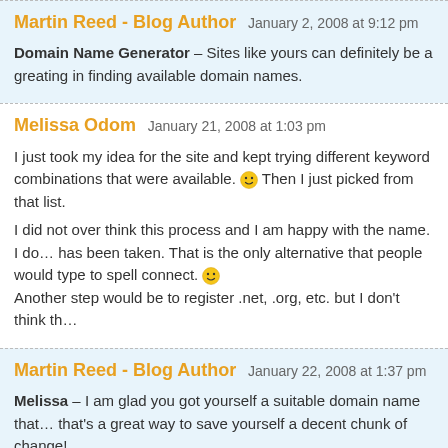Martin Reed - Blog Author   January 2, 2008 at 9:12 pm
Domain Name Generator – Sites like yours can definitely be a great help in finding available domain names.
Melissa Odom   January 21, 2008 at 1:03 pm
I just took my idea for the site and kept trying different keyword combinations that were available. 🙂 Then I just picked from that list.
I did not over think this process and I am happy with the name. I d... has been taken. That is the only alternative that people would type... spell connect. 🙂 Another step would be to register .net, .org, etc. but I don't think th...
Martin Reed - Blog Author   January 22, 2008 at 1:37 pm
Melissa – I am glad you got yourself a suitable domain name that... that's a great way to save yourself a decent chunk of change!